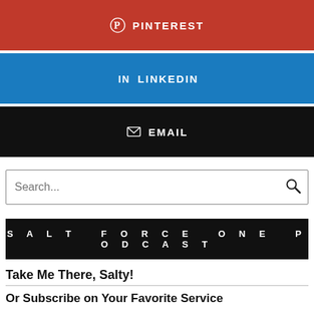[Figure (other): Pinterest share button - red background with Pinterest logo and text PINTEREST]
[Figure (other): LinkedIn share button - blue background with LinkedIn logo and text LINKEDIN]
[Figure (other): Email share button - black background with envelope icon and text EMAIL]
Search...
SALT FORCE ONE PODCAST
Take Me There, Salty!
Or Subscribe on Your Favorite Service
[Figure (logo): SoundCloud logo icon - orange rounded square]
[Figure (logo): Stitcher podcast logo - black circle with STITCHER text and colored bars]
[Figure (logo): iTunes/Apple Podcasts logo - circular gradient border with music note]